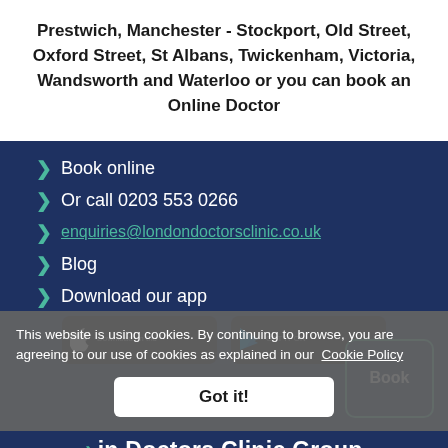Prestwich, Manchester - Stockport, Old Street, Oxford Street, St Albans, Twickenham, Victoria, Wandsworth and Waterloo or you can book an Online Doctor
Book online
Or call 0203 553 0266
enquiries@londondoctorsclinic.co.uk
Blog
Download our app
[Figure (screenshot): Two app download buttons: 'Download on the App Store' (Apple) and 'GET IT ON Google Play']
This website is using cookies. By continuing to browse, you are agreeing to our use of cookies as explained in our Cookie Policy
Got it!
Book
London Doctors Clinic Group